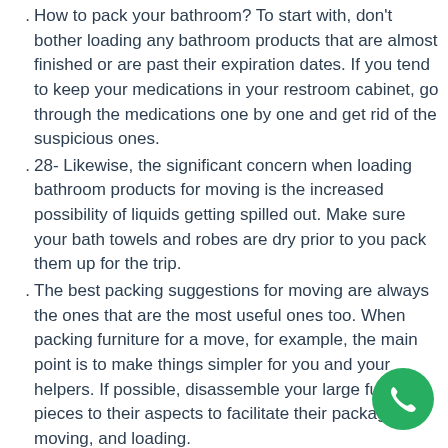How to pack your bathroom? To start with, don't bother loading any bathroom products that are almost finished or are past their expiration dates. If you tend to keep your medications in your restroom cabinet, go through the medications one by one and get rid of the suspicious ones.
28- Likewise, the significant concern when loading bathroom products for moving is the increased possibility of liquids getting spilled out. Make sure your bath towels and robes are dry prior to you pack them up for the trip.
The best packing suggestions for moving are always the ones that are the most useful ones too. When packing furniture for a move, for example, the main point is to make things simpler for you and your helpers. If possible, disassemble your large furniture pieces to their aspects to facilitate their packaging, moving, and loading.
Once disassembled, utilize special moving blankets or normal bed covers to protect the furniture elements effectively. To prevent damage to your injuries and